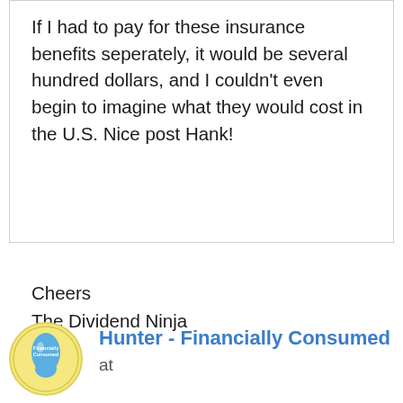If I had to pay for these insurance benefits seperately, it would be several hundred dollars, and I couldn't even begin to imagine what they would cost in the U.S. Nice post Hank!
Cheers
The Dividend Ninja
Reply
[Figure (logo): Circular logo with yellow background, blue teardrop/bag shape in center with text 'Financially Consumed']
Hunter - Financially Consumed
at